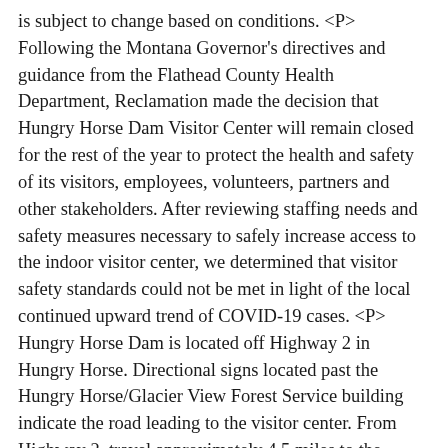is subject to change based on conditions. <P> Following the Montana Governor's directives and guidance from the Flathead County Health Department, Reclamation made the decision that Hungry Horse Dam Visitor Center will remain closed for the rest of the year to protect the health and safety of its visitors, employees, volunteers, partners and other stakeholders. After reviewing staffing needs and safety measures necessary to safely increase access to the indoor visitor center, we determined that visitor safety standards could not be met in light of the local continued upward trend of COVID-19 cases. <P> Hungry Horse Dam is located off Highway 2 in Hungry Horse. Directional signs located past the Hungry Horse/Glacier View Forest Service building indicate the road leading to the visitor center. From Highway 2, travel approximately 4.5 miles to the visitor center located at the north end of the dam's crest. <P> The <a href="https://www.cdc.gov/coronavirus/2019-ncov/daily-life-coping/visitors.html">CDC has offered guidance</a> for people recreating on public lands to prevent the spread of infectious diseases. We will continue to monitor all functions to ensure visitors adhere to CDC guidance for mitigating risks associated with the transmission of COVID-19 and take any additional steps necessary to protect public health. <P> When recreating, the public should follow local area health orders, practice <a href="https://www.nps.gov/articles/leave-no-trace-seven-principles.htm">Leave No Trace</a> principles and avoid